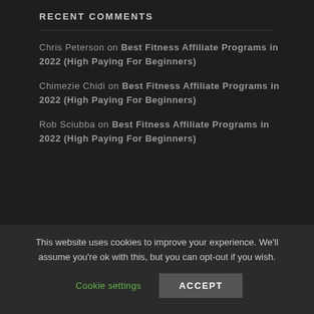RECENT COMMENTS
Chris Peterson on Best Fitness Affiliate Programs in 2022 (High Paying For Beginners)
Chimezie Chidi on Best Fitness Affiliate Programs in 2022 (High Paying For Beginners)
Rob Sciubba on Best Fitness Affiliate Programs in 2022 (High Paying For Beginners)
Joblinko.com Copyright © 2022. Joblinko.com is a participant in the Amazon Services LLC Associates Program, an affiliate advertising program
This website uses cookies to improve your experience. We'll assume you're ok with this, but you can opt-out if you wish.